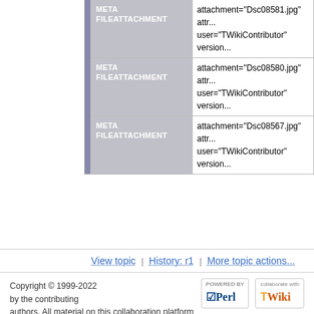| Type | Value |
| --- | --- |
| META FILEATTACHMENT | attachment="Dsc08581.jpg" attr... user="TWikiContributor" version... |
| META FILEATTACHMENT | attachment="Dsc08580.jpg" attr... user="TWikiContributor" version... |
| META FILEATTACHMENT | attachment="Dsc08567.jpg" attr... user="TWikiContributor" version... |
View topic | History: r1 | More topic actions...
Copyright © 1999-2022 by the contributing authors. All material on this collaboration platform is the property of the contributing authors. Ideas, requests, problems regarding RHUL Physics Department TWiki? Send feedback Note: Please contribute updates to this topic on TWiki.org at TWiki:TWiki.ScrollBoxAddOn.